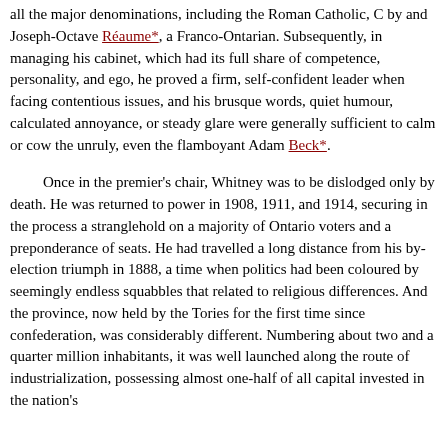all the major denominations, including the Roman Catholic, C by and Joseph-Octave Réaume*, a Franco-Ontarian. Subsequently, in managing his cabinet, which had its full share of competence, personality, and ego, he proved a firm, self-confident leader when facing contentious issues, and his brusque words, quiet humour, calculated annoyance, or steady glare were generally sufficient to calm or cow the unruly, even the flamboyant Adam Beck*.
Once in the premier's chair, Whitney was to be dislodged only by death. He was returned to power in 1908, 1911, and 1914, securing in the process a stranglehold on a majority of Ontario voters and a preponderance of seats. He had travelled a long distance from his by-election triumph in 1888, a time when politics had been coloured by seemingly endless squabbles that related to religious differences. And the province, now held by the Tories for the first time since confederation, was considerably different. Numbering about two and a quarter million inhabitants, it was well launched along the route of industrialization, possessing almost one-half of all capital invested in the nation's